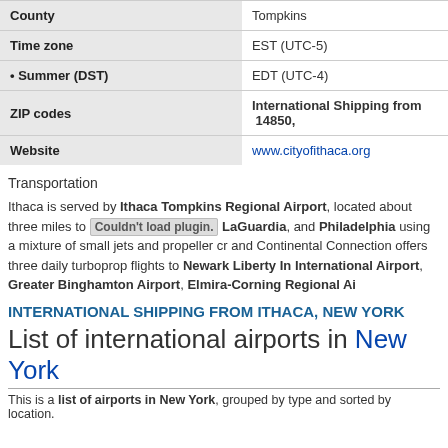| Field | Value |
| --- | --- |
| County | Tompkins |
| Time zone | EST (UTC-5) |
| • Summer (DST) | EDT (UTC-4) |
| ZIP codes | International Shipping from  14850, |
| Website | www.cityofithaca.org |
Transportation
Ithaca is served by Ithaca Tompkins Regional Airport, located about three miles to LaGuardia, and Philadelphia using a mixture of small jets and propeller cr... and Continental Connection offers three daily turboprop flights to Newark Liberty International Airport, Greater Binghamton Airport, Elmira-Corning Regional Airport
INTERNATIONAL SHIPPING FROM ITHACA, NEW YORK
List of international airports in New York
This is a list of airports in New York, grouped by type and sorted by location.